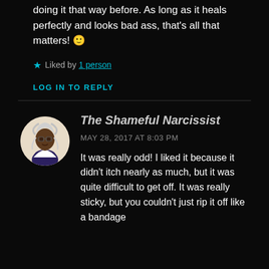doing it that way before. As long as it heals perfectly and looks bad ass, that's all that matters! 🙂
★ Liked by 1 person
LOG IN TO REPLY
The Shameful Narcissist
MAY 28, 2017 AT 8:03 PM
It was really odd! I liked it because it didn't itch nearly as much, but it was quite difficult to get off. It was really sticky, but you couldn't just rip it off like a bandage